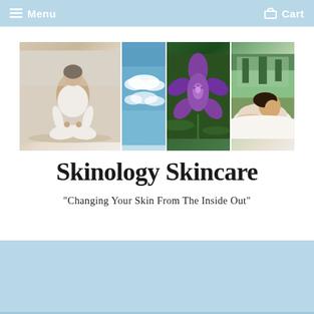Menu   Cart
[Figure (photo): Collage of four images: woman meditating in white outfit, blue sky with clouds, purple orchid flower, woman relaxing at spa]
Skinology Skincare
"Changing Your Skin From The Inside Out"
Home › The MAX™ STEM CELL EYE CRÈME